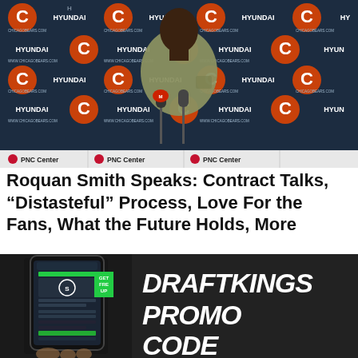[Figure (photo): Roquan Smith speaking at a press conference in front of a Chicago Bears and Hyundai sponsor backdrop, with microphones in front of him. A PNC Center banner runs along the bottom of the image.]
Roquan Smith Speaks: Contract Talks, “Distasteful” Process, Love For the Fans, What the Future Holds, More
[Figure (photo): A hand holding a smartphone showing the DraftKings app, with large italic bold text reading DRAFTKINGS PROMO CODE on the right side of the image.]